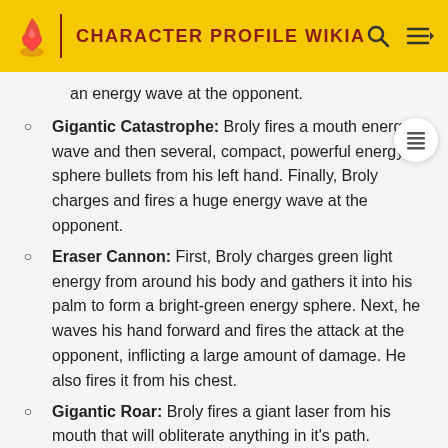CHARACTER PROFILE WIKIA
an energy wave at the opponent.
Gigantic Catastrophe: Broly fires a mouth energy wave and then several, compact, powerful energy sphere bullets from his left hand. Finally, Broly charges and fires a huge energy wave at the opponent.
Eraser Cannon: First, Broly charges green light energy from around his body and gathers it into his palm to form a bright-green energy sphere. Next, he waves his hand forward and fires the attack at the opponent, inflicting a large amount of damage. He also fires it from his chest.
Gigantic Roar: Broly fires a giant laser from his mouth that will obliterate anything in it's path.